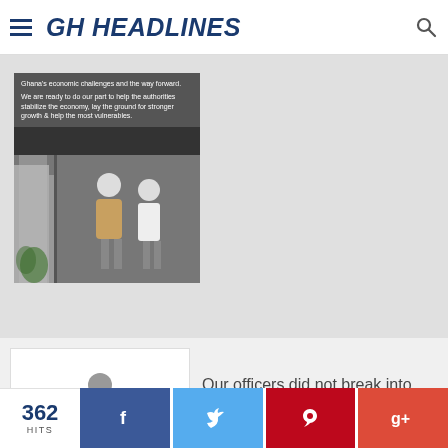GH HEADLINES
[Figure (photo): Thumbnail image with text overlay about Ghana's economic challenges and a photo of two people, used as article thumbnail]
[Figure (illustration): Book/news reader icon used as placeholder thumbnail for article]
Our officers did not break into house of Trasacco Boss – Police Service
ADS[@]GHHEADLINES.COM
362 HITS